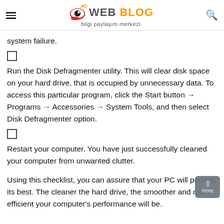WEB BLOG bilgi paylaşım merkezi
system failure.
☐ Run the Disk Defragmenter utility. This will clear disk space on your hard drive, that is occupied by unnecessary data. To access this particular program, click the Start button → Programs → Accessories → System Tools, and then select Disk Defragmenter option.
☐ Restart your computer. You have just successfully cleaned your computer from unwanted clutter.
Using this checklist, you can assure that your PC will perform its best. The cleaner the hard drive, the smoother and more efficient your computer's performance will be.